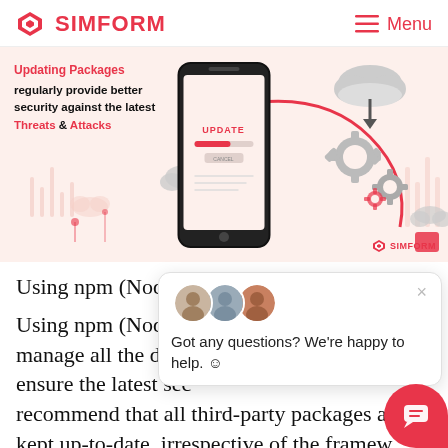SIMFORM — Menu
[Figure (illustration): Simform banner illustration showing a smartphone with an UPDATE screen, cloud icons, gear icons, and text: 'Updating Packages regularly provide better security against the latest Threats & Attacks']
Using npm (Node Package Manager), you can manage all the dependencies and packages to ensure the latest security updates. We strongly recommend that all third-party packages are kept up-to-date, irrespective of the framework you use. We might be swayed away by how efficient a third-party package is...